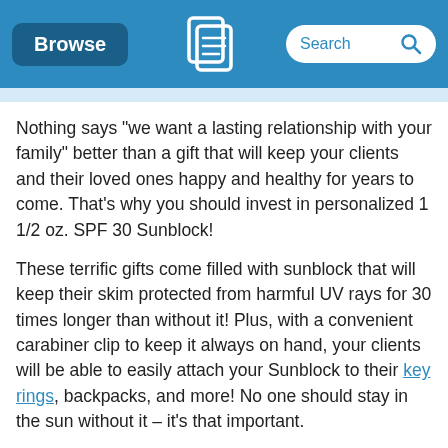Browse | [logo] | Search
Nothing says "we want a lasting relationship with your family" better than a gift that will keep your clients and their loved ones happy and healthy for years to come. That's why you should invest in personalized 1 1/2 oz. SPF 30 Sunblock!
These terrific gifts come filled with sunblock that will keep their skim protected from harmful UV rays for 30 times longer than without it! Plus, with a convenient carabiner clip to keep it always on hand, your clients will be able to easily attach your Sunblock to their key rings, backpacks, and more! No one should stay in the sun without it – it's that important.
Take advantage of this excellent custom gift today